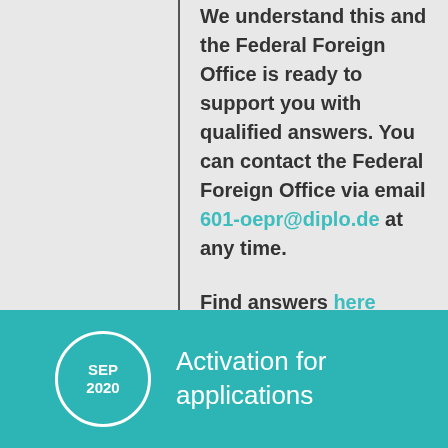We understand this and the Federal Foreign Office is ready to support you with qualified answers. You can contact the Federal Foreign Office via email 601-oepr@diplo.de at any time.

Find answers here
SEP 2020
Activation for applications